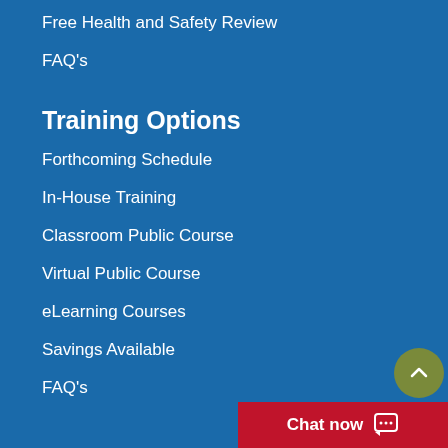Free Health and Safety Review
FAQ's
Training Options
Forthcoming Schedule
In-House Training
Classroom Public Course
Virtual Public Course
eLearning Courses
Savings Available
FAQ's
Chat now